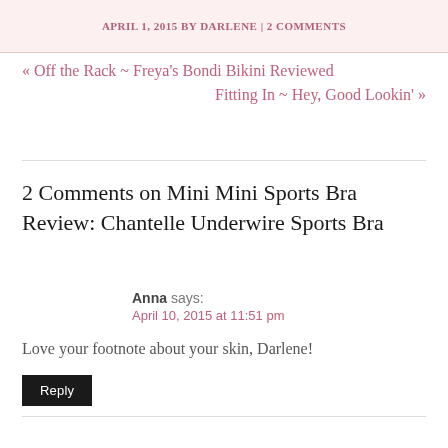APRIL 1, 2015 BY DARLENE | 2 COMMENTS
« Off the Rack ~ Freya's Bondi Bikini Reviewed
Fitting In ~ Hey, Good Lookin' »
2 Comments on Mini Mini Sports Bra Review: Chantelle Underwire Sports Bra
Anna says:
April 10, 2015 at 11:51 pm
Love your footnote about your skin, Darlene!
Reply